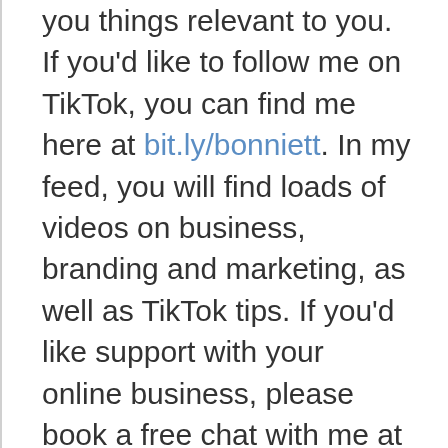you things relevant to you. If you'd like to follow me on TikTok, you can find me here at bit.ly/bonniett. In my feed, you will find loads of videos on business, branding and marketing, as well as TikTok tips. If you'd like support with your online business, please book a free chat with me at bit.ly/talktobonnie.
Business Fabulous Academy is now open! This program provides everything you need to bring your online business to the next level with clear branding and consistent sales. To find out more, go to